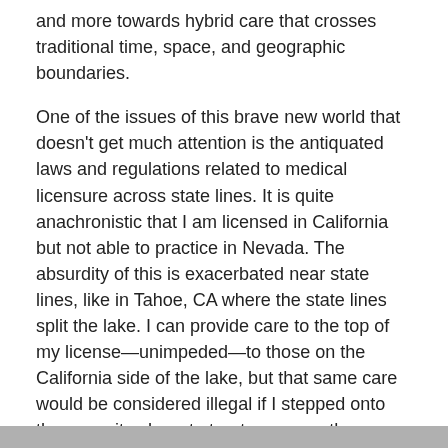and more towards hybrid care that crosses traditional time, space, and geographic boundaries.
One of the issues of this brave new world that doesn't get much attention is the antiquated laws and regulations related to medical licensure across state lines. It is quite anachronistic that I am licensed in California but not able to practice in Nevada. The absurdity of this is exacerbated near state lines, like in Tahoe, CA where the state lines split the lake. I can provide care to the top of my license—unimpeded—to those on the California side of the lake, but that same care would be considered illegal if I stepped onto the opposite shore to treat someone there. Now, think about this in an even more populous place like the Tri-State area of New York, New Jersey, and Connecticut. You almost can't help but cross state lines as you travel between your various providers, specialists, and health systems.
[Figure (other): Gray bar at bottom of page]